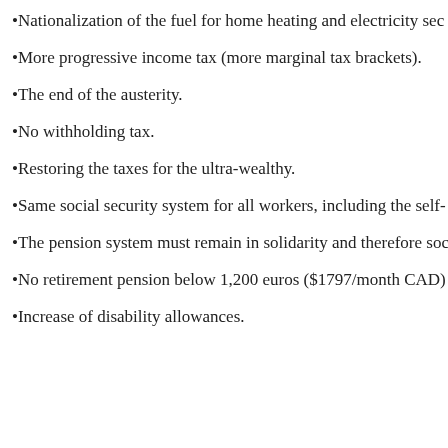•Nationalization of the fuel for home heating and electricity sec
•More progressive income tax (more marginal tax brackets).
•The end of the austerity.
•No withholding tax.
•Restoring the taxes for the ultra-wealthy.
•Same social security system for all workers, including the self-
•The pension system must remain in solidarity and therefore soc
•No retirement pension below 1,200 euros ($1797/month CAD)
•Increase of disability allowances.